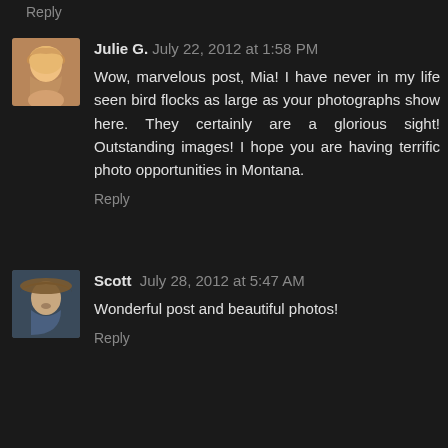Reply
Julie G. July 22, 2012 at 1:58 PM
Wow, marvelous post, Mia! I have never in my life seen bird flocks as large as your photographs show here. They certainly are a glorious sight! Outstanding images! I hope you are having terrific photo opportunities in Montana.
Reply
Scott July 28, 2012 at 5:47 AM
Wonderful post and beautiful photos!
Reply